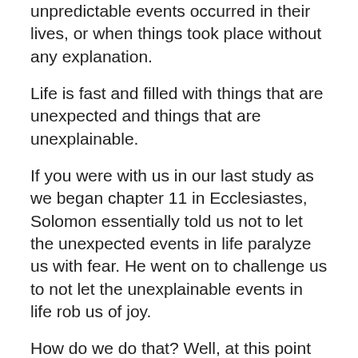unpredictable events occurred in their lives, or when things took place without any explanation.
Life is fast and filled with things that are unexpected and things that are unexplainable.
If you were with us in our last study as we began chapter 11 in Ecclesiastes, Solomon essentially told us not to let the unexpected events in life paralyze us with fear. He went on to challenge us to not let the unexplainable events in life rob us of joy.
How do we do that? Well, at this point in his private journal, Solomon is bringing God back into the scene of life down here under the sun.
That sense of security and joy can occur as we recognize that what is unexpected to us was fully expected by the plan of God for our lives.